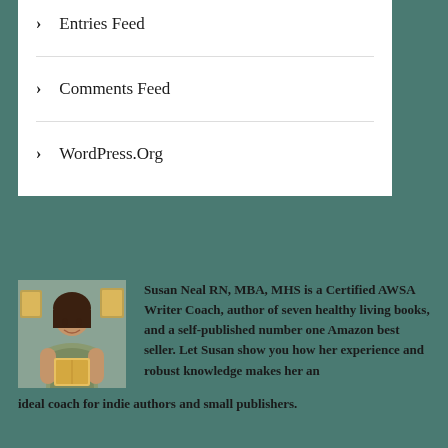Entries Feed
Comments Feed
WordPress.Org
[Figure (photo): Photo of Susan Neal, a woman in a patterned blouse holding a book, standing in front of a backdrop with text/logos]
Susan Neal RN, MBA, MHS is a Certified AWSA Writer Coach, author of seven healthy living books, and a self-published number one Amazon best seller. Let Susan show you how her experience and robust knowledge makes her an ideal coach for indie authors and small publishers.